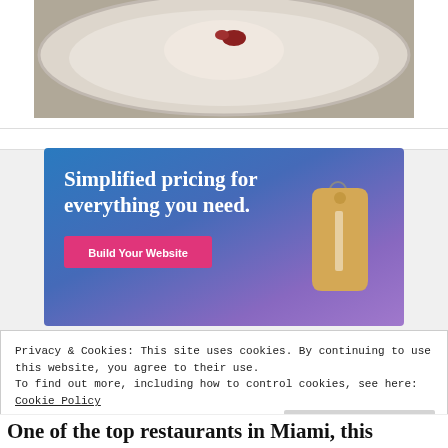[Figure (photo): Partial view of a food dish on a plate, showing what appears to be a dessert or appetizer with a red garnish on a light-colored plate, seen from above on a textured surface.]
[Figure (infographic): Advertisement banner with gradient blue-purple background. Text reads 'Simplified pricing for everything you need.' with a pink 'Build Your Website' button and a price tag graphic on the right.]
Privacy & Cookies: This site uses cookies. By continuing to use this website, you agree to their use.
To find out more, including how to control cookies, see here: Cookie Policy
Close and accept
One of the top restaurants in Miami, this